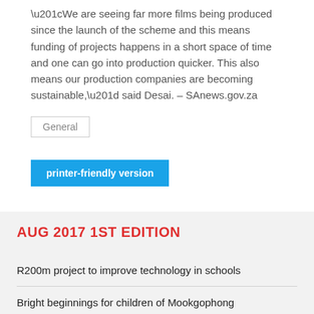“We are seeing far more films being produced since the launch of the scheme and this means funding of projects happens in a short space of time and one can go into production quicker. This also means our production companies are becoming sustainable,” said Desai. – SAnews.gov.za
General
printer-friendly version
AUG 2017 1ST EDITION
R200m project to improve technology in schools
Bright beginnings for children of Mookgophong
Improving conditions of women is good for development